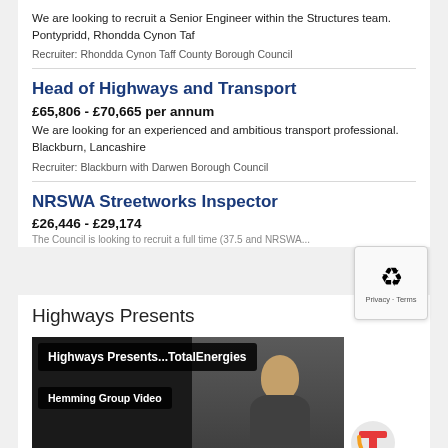We are looking to recruit a Senior Engineer within the Structures team. Pontypridd, Rhondda Cynon Taf
Recruiter: Rhondda Cynon Taff County Borough Council
Head of Highways and Transport
£65,806 - £70,665 per annum
We are looking for an experienced and ambitious transport professional. Blackburn, Lancashire
Recruiter: Blackburn with Darwen Borough Council
NRSWA Streetworks Inspector
£26,446 - £29,174
Highways Presents
[Figure (screenshot): Video player screenshot showing 'Highways Presents...TotalEnergies' with 'Hemming Group Video' label, a presenter visible, TotalEnergies logo on the right, and 'Player error' text at the bottom. A reCAPTCHA widget is overlaid in the top right corner.]